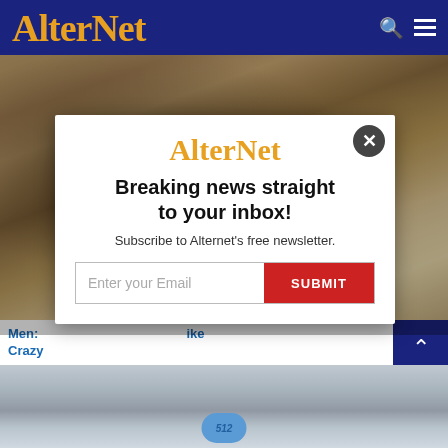AlterNet
[Figure (photo): Close-up photo of a man's face holding something, background of the webpage]
[Figure (screenshot): Modal popup with AlterNet logo, newsletter signup form with email input and SUBMIT button]
Men: ... Crazy...
[Figure (photo): Close-up photo of a blue pill on a wet surface]